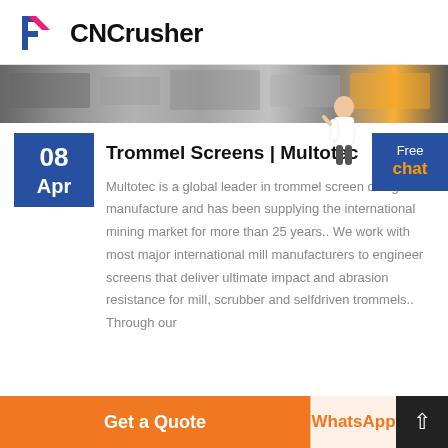CNCrusher
[Figure (photo): Industrial machinery banner showing crusher/screening equipment in a factory setting]
08 Apr
Trommel Screens | Multotec
Multotec is a global leader in trommel screen design and manufacture and has been supplying the international mining market for more than 25 years.. We work with most major international mill manufacturers to engineer screens that deliver ultimate impact and abrasion resistance for mill, scrubber and selfdriven trommels.. Through our
[Figure (illustration): Woman character pointing, used as UI chat assistant graphic]
Free chat
Get a Quote
WhatsApp